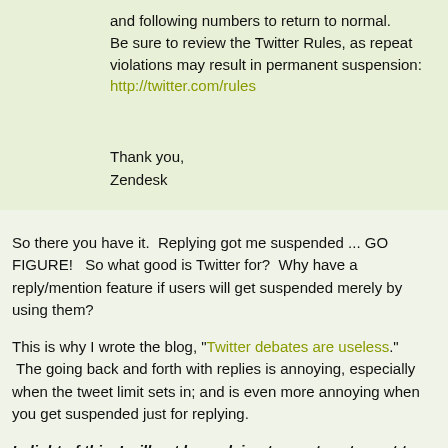and following numbers to return to normal. Be sure to review the Twitter Rules, as repeat violations may result in permanent suspension: http://twitter.com/rules
Thank you,
Zendesk
So there you have it.  Replying got me suspended ... GO FIGURE!   So what good is Twitter for?  Why have a reply/mention feature if users will get suspended merely by using them?
This is why I wrote the blog, "Twitter debates are useless."  The going back and forth with replies is annoying, especially when the tweet limit sets in; and is even more annoying when you get suspended just for replying.
In light of this, I will not be replying to any tweets sent to